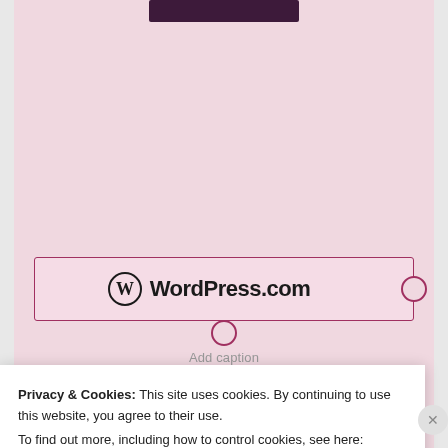[Figure (screenshot): WordPress.com advertisement block with pink background, showing WordPress.com logo inside a bordered selection box with circular handles, and an 'Add caption' placeholder below]
Add caption
REPORT THIS AD
RECENT POSTS
The Woman In White*
Privacy & Cookies: This site uses cookies. By continuing to use this website, you agree to their use.
To find out more, including how to control cookies, see here: Cookie Policy
Close and accept